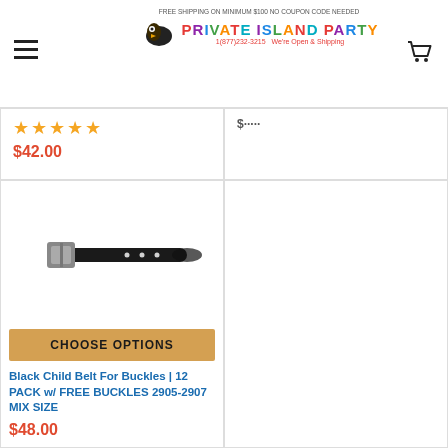FREE SHIPPING ON MINIMUM $100 NO COUPON CODE NEEDED — Private Island Party — 1(877)232-3215 — We're Open & Shipping
★★★★★
$42.00
[Figure (photo): Black child belt with silver buckle, coiled/laid flat on white background]
CHOOSE OPTIONS
Black Child Belt For Buckles | 12 PACK w/ FREE BUCKLES 2905-2907 MIX SIZE
$48.00
[Figure (photo): Black piano belt coiled in a circle with silver buckle visible, white stripes on belt]
Black Piano Belt ADULT 2404-2407
$3.99